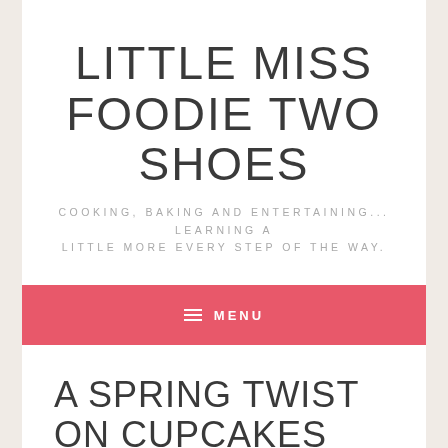LITTLE MISS FOODIE TWO SHOES
COOKING, BAKING AND ENTERTAINING... LEARNING A LITTLE MORE EVERY STEP OF THE WAY.
≡ MENU
A SPRING TWIST ON CUPCAKES
April 4, 2010